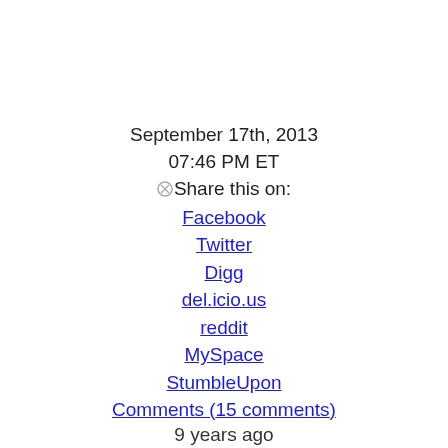September 17th, 2013
07:46 PM ET
⊗Share this on:
Facebook
Twitter
Digg
del.icio.us
reddit
MySpace
StumbleUpon
Comments (15 comments)
9 years ago